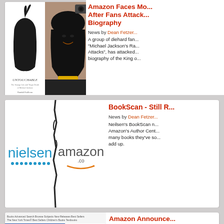[Figure (photo): Book cover 'Untouchable' silhouette on left, Michael Jackson photo on right]
Amazon Faces Mo... After Fans Attack... Biography
News by Dean Fetzer
A group of diehard fan... "Michael Jackson's Ra... Attacks", has attacked... biography of the King o...
[Figure (logo): Nielsen logo vs Amazon logo split by crack]
BookScan - Still R...
News by Dean Fetzer
Neilsen's BookScan n... Amazon's Author Cent... many books they've so... add up.
[Figure (screenshot): Website screenshot partial view]
Amazon Announce...